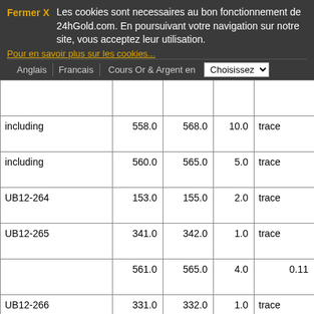Fermer X  Les cookies sont necessaires au bon fonctionnement de 24hGold.com. En poursuivant votre navigation sur notre site, vous acceptez leur utilisation. Pour en savoir plus sur les cookies...
Anglais | Francais | Cours Or & Argent en | Choisissez
|  |  |  |  |  |
| --- | --- | --- | --- | --- |
| including | 558.0 | 568.0 | 10.0 | trace |
| including | 560.0 | 565.0 | 5.0 | trace |
| UB12-264 | 153.0 | 155.0 | 2.0 | trace |
| UB12-265 | 341.0 | 342.0 | 1.0 | trace |
|  | 561.0 | 565.0 | 4.0 | 0.11 |
| UB12-266 | 331.0 | 332.0 | 1.0 | trace |
| UB12-267 | 579.0 | 580.0 | 1.0 | trace |